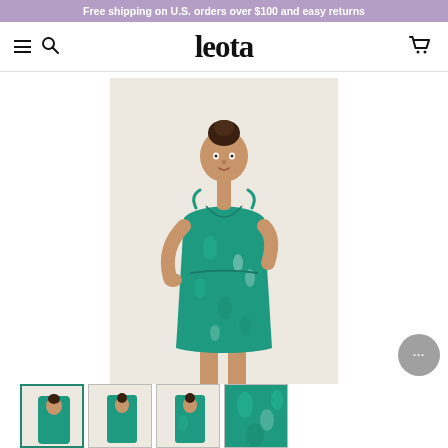Free shipping on U.S. orders over $100 and easy returns
[Figure (logo): Leota brand logo with hamburger menu, search icon, and cart icon navigation bar]
[Figure (photo): Woman wearing a teal/green floral print sleeveless dress with V-neck and tie shoulders, posing against a light beige background. Knee-length dress with cinched waist.]
[Figure (photo): Four product thumbnail images of the same green floral dress from different angles. First thumbnail is active/selected with green border.]